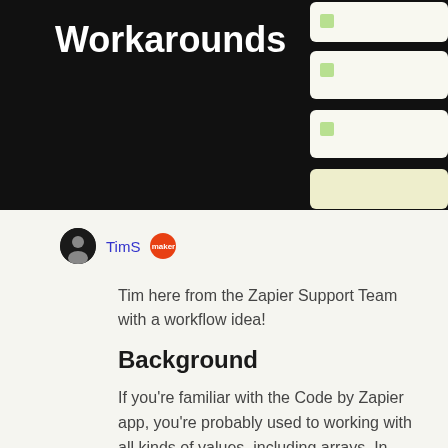[Figure (screenshot): Dark hero banner showing the word 'Workarounds' in bold white text on a black background, with UI elements (rounded rectangles in cream/light green) on the right side]
TimS [maker badge]
Tim here from the Zapier Support Team with a workflow idea!
Background
If you're familiar with the Code by Zapier app, you're probably used to working with all kinds of values, including arrays. In Zapier, arrays are